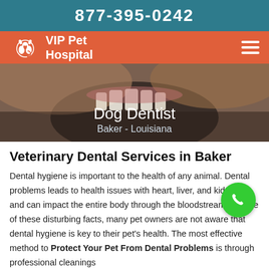877-395-0242
[Figure (logo): VIP Pet Hospital logo with orange background, white animal silhouettes and hamburger menu icon]
[Figure (photo): Close-up photo of a dog's teeth and snout with overlaid text 'Dog Dentist / Baker - Louisiana']
Veterinary Dental Services in Baker
Dental hygiene is important to the health of any animal. Dental problems leads to health issues with heart, liver, and kidneys, and can impact the entire body through the bloodstream. In spite of these disturbing facts, many pet owners are not aware that dental hygiene is key to their pet's health. The most effective method to Protect Your Pet From Dental Problems is through professional cleanings